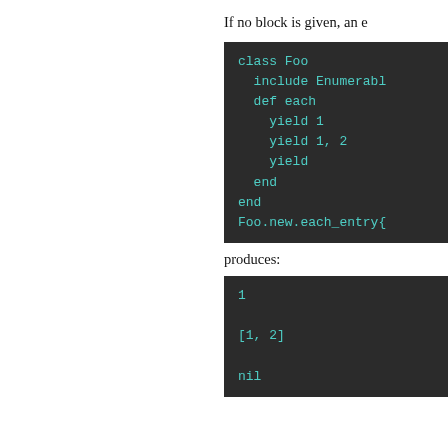If no block is given, an e
[Figure (screenshot): Code block showing Ruby class Foo including Enumerable with def each yielding 1, yield 1 2, yield, end, end, and Foo.new.each_entry{]
produces:
[Figure (screenshot): Output block showing: 1, [1, 2], nil]